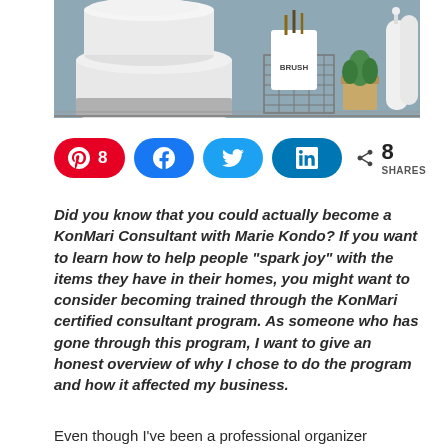[Figure (photo): A neatly organized linen closet shelf with rolled white towels, a small plant in a pot, a brush holder cup, and white bottles in a wire basket on a gray shelf]
[Figure (infographic): Social sharing buttons: Pinterest with count 8, Facebook, Twitter, LinkedIn, and share count showing 8 SHARES]
Did you know that you could actually become a KonMari Consultant with Marie Kondo? If you want to learn how to help people “spark joy” with the items they have in their homes, you might want to consider becoming trained through the KonMari certified consultant program. As someone who has gone through this program, I want to give an honest overview of why I chose to do the program and how it affected my business.
Even though I’ve been a professional organizer